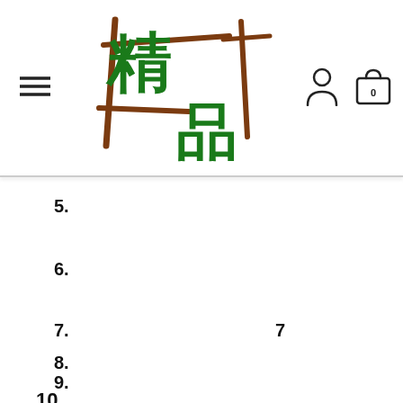[Figure (logo): Chinese e-commerce site logo with green characters 精品 and brown brush-stroke decorative characters, hamburger menu icon on left, person and shopping bag icons on right]
5.
6.
7.          7
8.
9.
10.